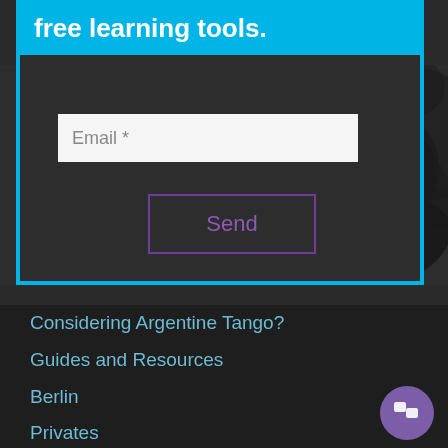free learning tools.
Email *
Send
Considering Argentine Tango?
Guides and Resources
Berlin
Privates
Contact
Privacy